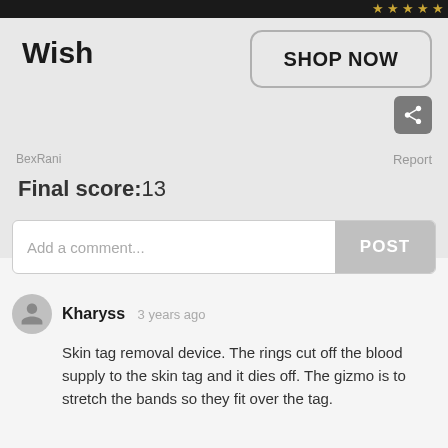[Figure (screenshot): Top dark navigation bar with gold stars rating icons]
Wish
[Figure (other): SHOP NOW button with rounded border]
[Figure (other): Share icon button (dark grey square with share symbol)]
BexRani
Report
Final score:13
Add a comment...
POST
Kharyss  3 years ago
Skin tag removal device. The rings cut off the blood supply to the skin tag and it dies off. The gizmo is to stretch the bands so they fit over the tag.
[Figure (other): NFL Shop advertisement banner with jersey image, text 'NFL Shop', 'Free shipping on orders over $25', 'www.nflshop.com', close button X and blue arrow button]